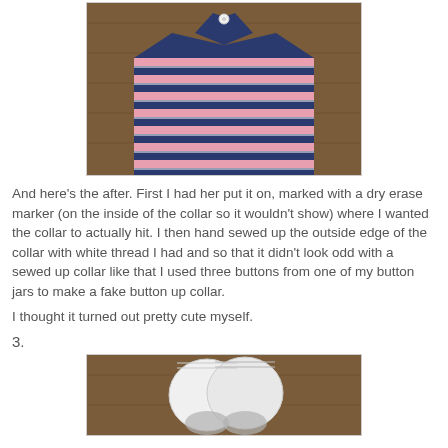[Figure (photo): Photo of a navy and pink striped polo shirt laid flat on a wooden surface, with visible buttons at the collar.]
And here's the after.  First I had her put it on, marked with a dry erase marker (on the inside of the collar so it wouldn't show) where I wanted the collar to actually hit.  I then hand sewed up the outside edge of the collar with white thread I had and so that it didn't look odd with a sewed up collar like that I used three buttons from one of my button jars to make a fake button up collar.
I thought it turned out pretty cute myself.
3.
[Figure (photo): Photo of white socks on a wooden surface.]